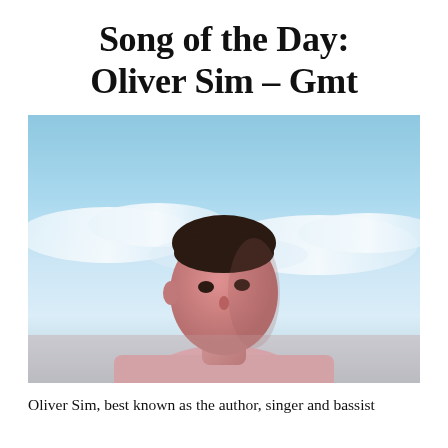Song of the Day: Oliver Sim – Gmt
[Figure (photo): Portrait photo of Oliver Sim, a slim man in a light pink t-shirt, looking upward slightly against a blue sky with clouds background, with warm pink/red lighting on his face and body.]
Oliver Sim, best known as the author, singer and bassist